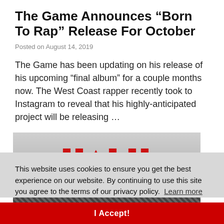The Game Announces “Born To Rap” Release For October
Posted on August 14, 2019
The Game has been updating on his release of his upcoming “final album” for a couple months now. The West Coast rapper recently took to Instagram to reveal that his highly-anticipated project will be releasing …
[Figure (photo): Partial album cover image showing red stylized text and a dark photo beneath, partially obscured by cookie consent overlay]
This website uses cookies to ensure you get the best experience on our website. By continuing to use this site you agree to the terms of our privacy policy. Learn more
I Accept!